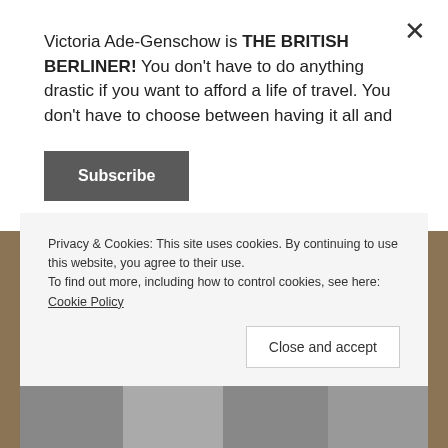Victoria Ade-Genschow is THE BRITISH BERLINER! You don't have to do anything drastic if you want to afford a life of travel. You don't have to choose between having it all and
Subscribe
Not Ever!
Why is that, you might ask?
To be honest, I simply don't know!
Privacy & Cookies: This site uses cookies. By continuing to use this website, you agree to their use.
To find out more, including how to control cookies, see here: Cookie Policy
Close and accept
[Figure (photo): Photo strip at the bottom showing several portrait photographs partially visible]